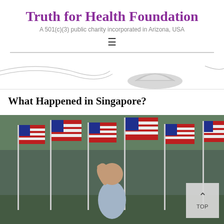Truth for Health Foundation
A 501(c)(3) public charity incorporated in Arizona, USA
[Figure (illustration): Decorative banner/header image with stylized graphic elements on white background]
What Happened in Singapore?
[Figure (photo): A young boy standing among a field of American flags, shielding his eyes and looking up. The flags are red, white, and blue, displayed on white poles. A 'TOP' back-to-top button appears in the bottom right corner of the image.]